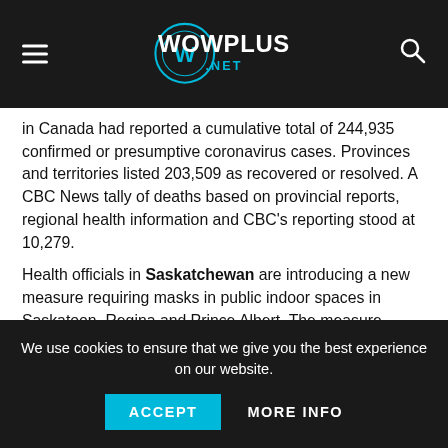WowPlus.net
in Canada had reported a cumulative total of 244,935 confirmed or presumptive coronavirus cases. Provinces and territories listed 203,509 as recovered or resolved. A CBC News tally of deaths based on provincial reports, regional health information and CBC's reporting stood at 10,279.
Health officials in Saskatchewan are introducing a new measure requiring masks in public indoor spaces in Saskatoon, Regina and Prince Albert. The measure, which will be in place for 28 days before being reviewed, takes effect
We use cookies to ensure that we give you the best experience on our website.
ACCEPT    MORE INFO